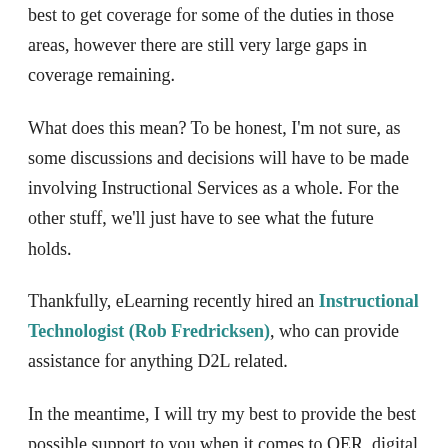best to get coverage for some of the duties in those areas, however there are still very large gaps in coverage remaining.
What does this mean? To be honest, I'm not sure, as some discussions and decisions will have to be made involving Instructional Services as a whole. For the other stuff, we'll just have to see what the future holds.
Thankfully, eLearning recently hired an Instructional Technologist (Rob Fredricksen), who can provide assistance for anything D2L related.
In the meantime, I will try my best to provide the best possible support to you when it comes to OER, digital accessibility, and UDL. Just all I ask, is that you are patient in case there are any bumps in the road.